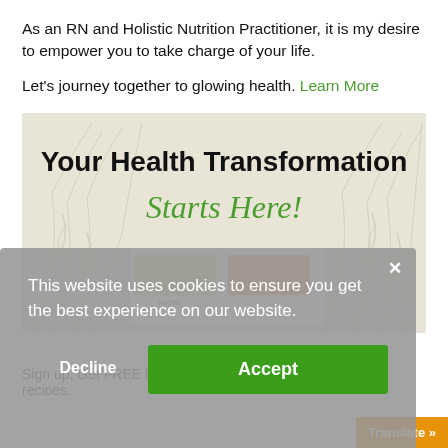As an RN and Holistic Nutrition Practitioner, it is my desire to empower you to take charge of your life.
Let's journey together to glowing health. Learn More
[Figure (illustration): Promotional banner with botanical leaf background. Large bold text reads 'Your Health Transformation' and cursive green text reads 'Starts Here!' with an open recipe book showing food photos at the bottom.]
This website uses cookies to ensure you get the best experience on our website.
Decline  Accept